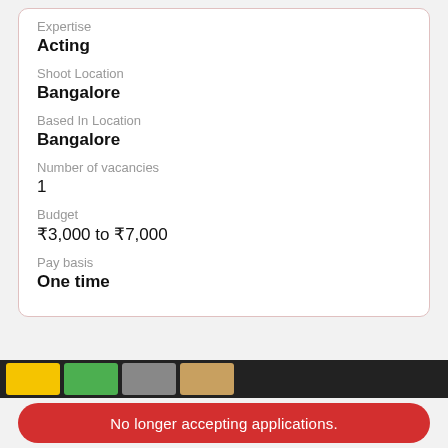Expertise
Acting
Shoot Location
Bangalore
Based In Location
Bangalore
Number of vacancies
1
Budget
₹3,000 to ₹7,000
Pay basis
One time
[Figure (photo): Dark banner strip with thumbnail images]
No longer accepting applications.